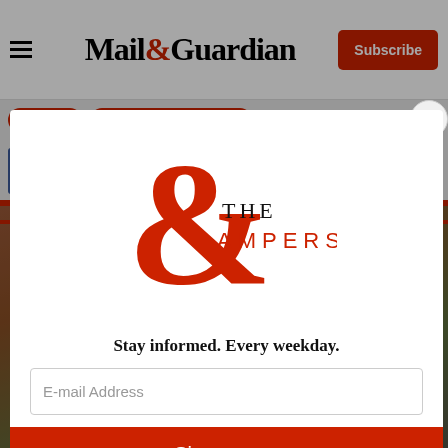Mail&Guardian — Subscribe
Wildfires
World Wildlife Federation
[Figure (logo): Social share buttons: Facebook, Twitter, WhatsApp, LinkedIn]
[Figure (photo): Background image of a landscape/wildfire scene]
[Figure (logo): The Ampersand newsletter logo — large red ampersand with THE AMPERSAND text]
Stay informed. Every weekday.
E-mail Address
Signup now